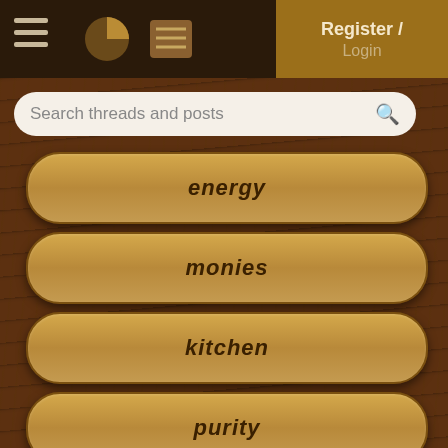[Figure (screenshot): Mobile app top navigation bar with hamburger menu, pie chart icon, and list icon on dark brown background]
[Figure (screenshot): Register / Login button in golden brown color top right]
Search threads and posts
energy
monies
kitchen
purity
ungarbage
community
wilderness
Recycled Houses
13 replies
Dan Phillips houses b... Commotion'
1 reply
urban ag aquaponics...
0 replies
another note on the...
4 replies